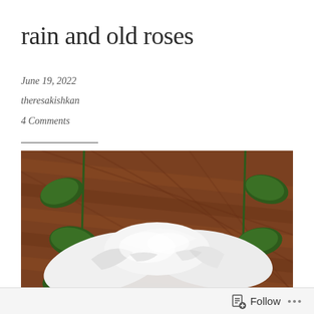rain and old roses
June 19, 2022
theresakishkan
4 Comments
[Figure (photo): Close-up photo of white rose petals with green leaves on a wooden background]
Follow